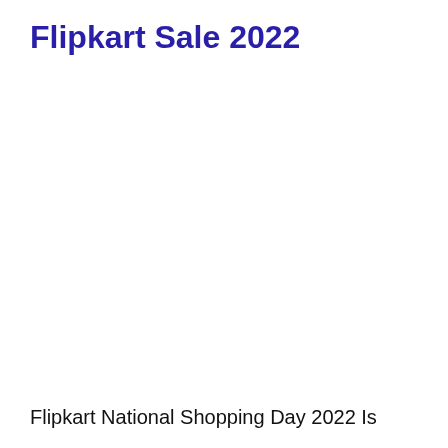Flipkart Sale 2022
Flipkart National Shopping Day 2022 Is